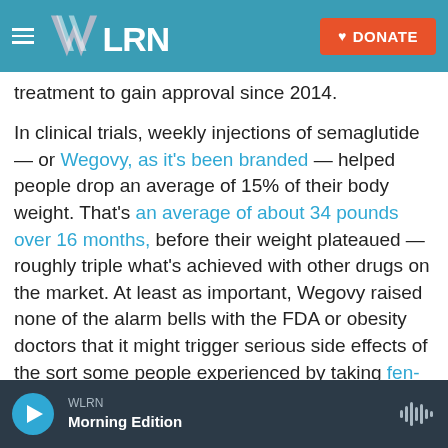WLRN | DONATE
treatment to gain approval since 2014.
In clinical trials, weekly injections of semaglutide — or Wegovy, as it's been branded — helped people drop an average of 15% of their body weight. That's an average of about 34 pounds over 16 months, before their weight plateaued — roughly triple what's achieved with other drugs on the market. At least as important, Wegovy raised none of the alarm bells with the FDA or obesity doctors that it might trigger serious side effects of the sort some people experienced by taking fen-phen or other previous medical treatments for obesity.
WLRN | Morning Edition